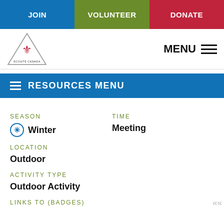JOIN | VOLUNTEER | DONATE
[Figure (logo): Scouts Canada triangular logo with fleur-de-lis and text SCOUTS CANADA]
MENU
(partial heading text, truncated)
RESOURCES MENU
(partial subheading, truncated)
SEASON
Winter
TIME
Meeting
LOCATION
Outdoor
ACTIVITY TYPE
Outdoor Activity
LINKS TO (BADGES)